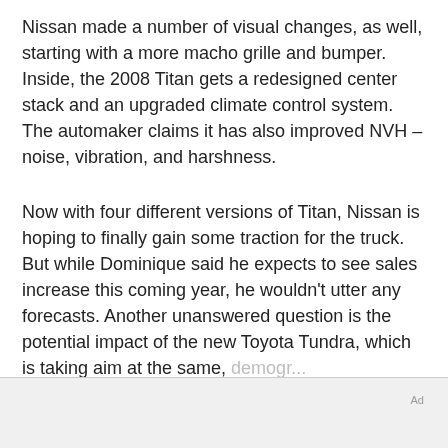Nissan made a number of visual changes, as well, starting with a more macho grille and bumper. Inside, the 2008 Titan gets a redesigned center stack and an upgraded climate control system. The automaker claims it has also improved NVH – noise, vibration, and harshness.
Now with four different versions of Titan, Nissan is hoping to finally gain some traction for the truck. But while Dominique said he expects to see sales increase this coming year, he wouldn't utter any forecasts. Another unanswered question is the potential impact of the new Toyota Tundra, which is taking aim at the same,
Ad